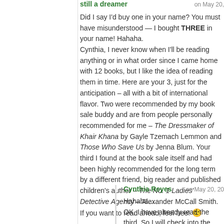still a dreamer — on May 20,
Did I say I'd buy one in your name? You must have misunderstood — I bought THREE in your name! Hahaha.
Cynthia, I never know when I'll be reading anything or in what order since I came home with 12 books, but I like the idea of reading them in time. Here are your 3, just for the anticipation – all with a bit of international flavor. Two were recommended by my book sale buddy and are from people personally recommended for me – The Dressmaker of Khair Khana by Gayle Tzemach Lemmon and Those Who Save Us by Jenna Blum. Your third I found at the book sale itself and had been highly recommended for the long term by a different friend, big reader and published children's author – The No. 1 Ladies' Detective Agency – Alexander McCall Smith. If you want to read ahead, feel free! 🙂
★ Like
Cynthia Reyes — on May 20, 20
Hahaha...
OK, I have already read the third. So I will check into the other two this summer and shall report back. I hope they aren't terribly depressing.
★ Like